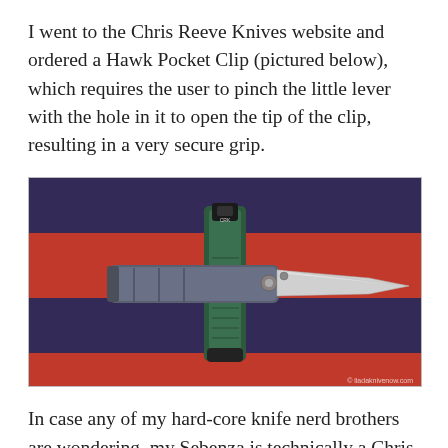I went to the Chris Reeve Knives website and ordered a Hawk Pocket Clip (pictured below), which requires the user to pinch the little lever with the hole in it to open the tip of the clip, resulting in a very secure grip.
[Figure (photo): A Hawk Pocket Clip and a Sebenza folding knife with blade open, laid on a red and dark blue striped fabric background. The clip is green/dark and positioned vertically in the center, with the knife blade extending to the right.]
In case any of my hard-core knife nerd brothers are wondering, my Sebenza is technically a Chris Reeve/Wilson Combat